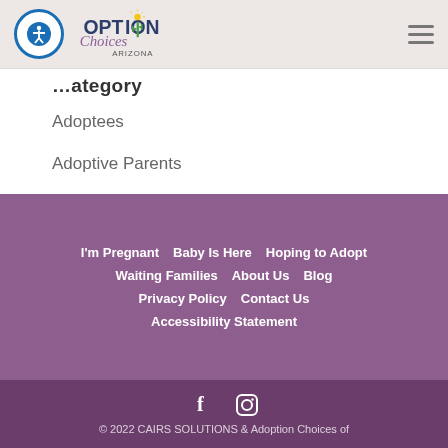Option Choices Arizona – navigation header with logo and hamburger menu
…ategory
Adoptees
Adoptive Parents
Birth Mothers
Uncategorized
I'm Pregnant   Baby Is Here   Hoping to Adopt   Waiting Families   About Us   Blog   Privacy Policy   Contact Us   Accessibility Statement
Facebook  Instagram  © 2022 CAIRS SOLUTIONS & Adoption Choices of